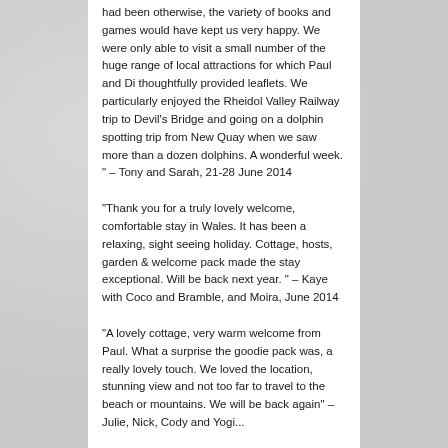had been otherwise, the variety of books and games would have kept us very happy. We were only able to visit a small number of the huge range of local attractions for which Paul and Di thoughtfully provided leaflets. We particularly enjoyed the Rheidol Valley Railway trip to Devil's Bridge and going on a dolphin spotting trip from New Quay when we saw more than a dozen dolphins. A wonderful week. " – Tony and Sarah, 21-28 June 2014
"Thank you for a truly lovely welcome, comfortable stay in Wales. It has been a relaxing, sight seeing holiday. Cottage, hosts, garden & welcome pack made the stay exceptional. Will be back next year. " – Kaye with Coco and Bramble, and Moira, June 2014
"A lovely cottage, very warm welcome from Paul. What a surprise the goodie pack was, a really lovely touch. We loved the location, stunning view and not too far to travel to the beach or mountains. We will be back again" – Julie, Nick, Cody and Yogi...